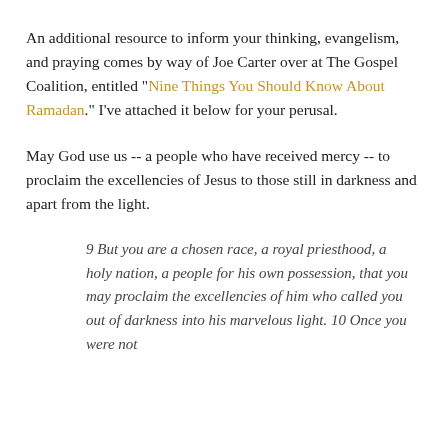An additional resource to inform your thinking, evangelism, and praying comes by way of Joe Carter over at The Gospel Coalition, entitled "Nine Things You Should Know About Ramadan." I've attached it below for your perusal.
May God use us -- a people who have received mercy -- to proclaim the excellencies of Jesus to those still in darkness and apart from the light.
9 But you are a chosen race, a royal priesthood, a holy nation, a people for his own possession, that you may proclaim the excellencies of him who called you out of darkness into his marvelous light. 10 Once you were not